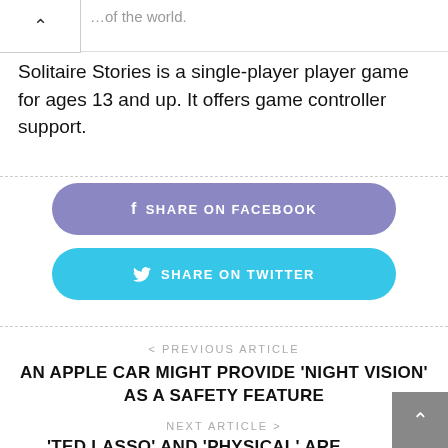…of the world.
Solitaire Stories is a single-player player game for ages 13 and up. It offers game controller support.
[Figure (other): Share on Facebook button (purple/blue pill-shaped button with Facebook 'f' icon)]
[Figure (other): Share on Twitter button (cyan pill-shaped button with Twitter bird icon)]
< PREVIOUS ARTICLE
AN APPLE CAR MIGHT PROVIDE 'NIGHT VISION' AS A SAFETY FEATURE
NEXT ARTICLE >
'TED LASSO' AND 'PHYSICAL' ARE AMONG THE TOP TV SHOWS ACROSS ALL SVODS THIS WEEK